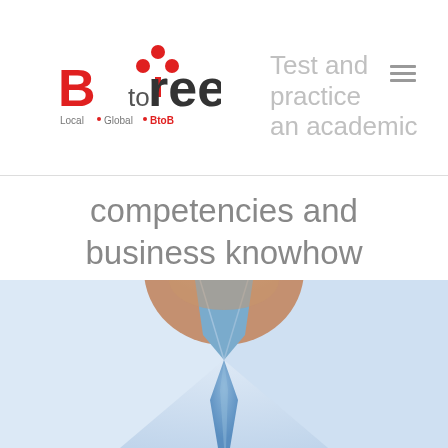BtoTree Local Global BtoB
Test and practice an academic competencies and business knowhow
[Figure (photo): Close-up photo of a man in a light blue dress shirt and blue tie, cropped at neck/chest level, soft blurred background]